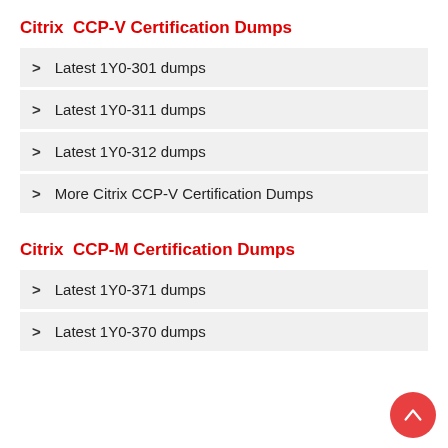Citrix  CCP-V Certification Dumps
> Latest 1Y0-301 dumps
> Latest 1Y0-311 dumps
> Latest 1Y0-312 dumps
> More Citrix CCP-V Certification Dumps
Citrix  CCP-M Certification Dumps
> Latest 1Y0-371 dumps
> Latest 1Y0-370 dumps